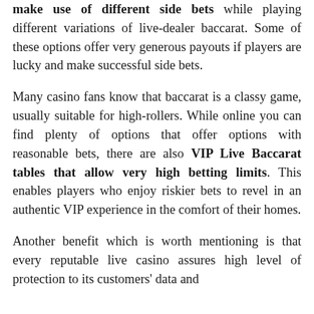make use of different side bets while playing different variations of live-dealer baccarat. Some of these options offer very generous payouts if players are lucky and make successful side bets.
Many casino fans know that baccarat is a classy game, usually suitable for high-rollers. While online you can find plenty of options that offer options with reasonable bets, there are also VIP Live Baccarat tables that allow very high betting limits. This enables players who enjoy riskier bets to revel in an authentic VIP experience in the comfort of their homes.
Another benefit which is worth mentioning is that every reputable live casino assures high level of protection to its customers' data and